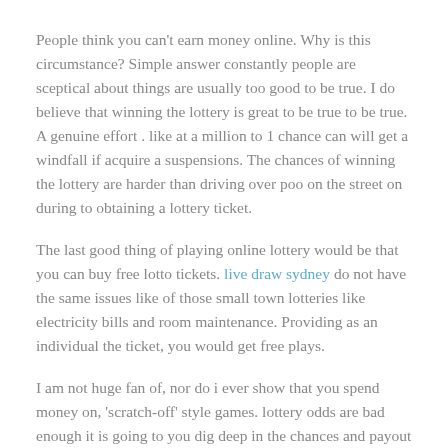People think you can't earn money online. Why is this circumstance? Simple answer constantly people are sceptical about things are usually too good to be true. I do believe that winning the lottery is great to be true to be true. A genuine effort . like at a million to 1 chance can will get a windfall if acquire a suspensions. The chances of winning the lottery are harder than driving over poo on the street on during to obtaining a lottery ticket.
The last good thing of playing online lottery would be that you can buy free lotto tickets. live draw sydney do not have the same issues like of those small town lotteries like electricity bills and room maintenance. Providing as an individual the ticket, you would get free plays.
I am not huge fan of, nor do i ever show that you spend money on, 'scratch-off' style games. lottery odds are bad enough it is going to you dig deep in the chances and payout figures on scratch off tickets, WOW, they might be a major hole in the